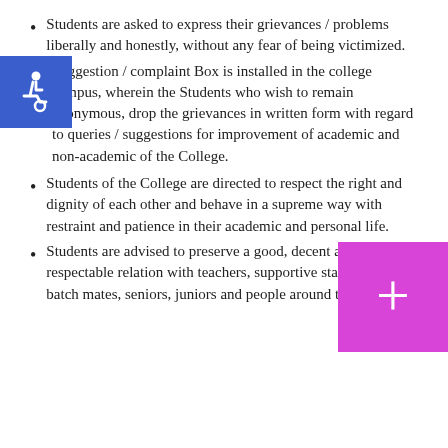Students are asked to express their grievances / problems liberally and honestly, without any fear of being victimized.
Suggestion / complaint Box is installed in the college campus, wherein the Students who wish to remain anonymous, drop the grievances in written form with regard to queries / suggestions for improvement of academic and non-academic of the College.
Students of the College are directed to respect the right and dignity of each other and behave in a supreme way with restraint and patience in their academic and personal life.
Students are advised to preserve a good, decent and respectable relation with teachers, supportive staff of college, batch mates, seniors, juniors and people around them.